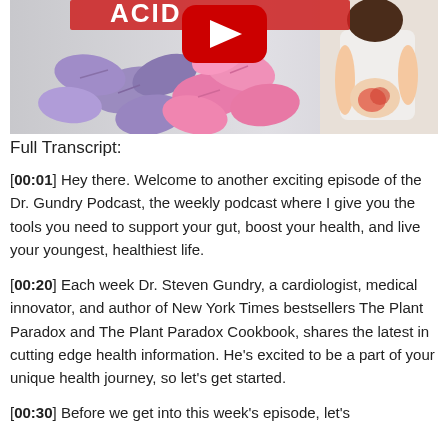[Figure (screenshot): YouTube video thumbnail showing colorful antacid tablets/pills on the left side and an illustrated woman holding her stomach on the right, with a red YouTube play button overlay and partial red text at the top.]
Full Transcript:
[00:01] Hey there. Welcome to another exciting episode of the Dr. Gundry Podcast, the weekly podcast where I give you the tools you need to support your gut, boost your health, and live your youngest, healthiest life.
[00:20] Each week Dr. Steven Gundry, a cardiologist, medical innovator, and author of New York Times bestsellers The Plant Paradox and The Plant Paradox Cookbook, shares the latest in cutting edge health information. He's excited to be a part of your unique health journey, so let's get started.
[00:30] Before we get into this week's episode, let's...